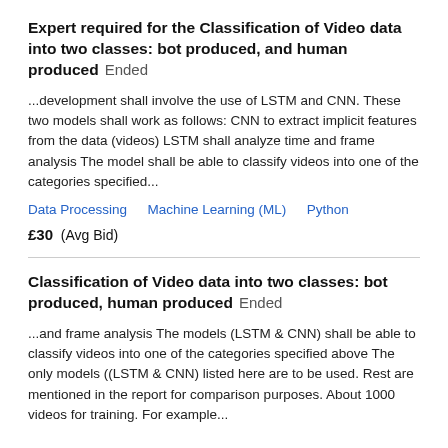Expert required for the Classification of Video data into two classes: bot produced, and human produced  Ended
...development shall involve the use of LSTM and CNN. These two models shall work as follows: CNN to extract implicit features from the data (videos) LSTM shall analyze time and frame analysis The model shall be able to classify videos into one of the categories specified...
Data Processing   Machine Learning (ML)   Python
£30  (Avg Bid)
Classification of Video data into two classes: bot produced, human produced  Ended
...and frame analysis The models (LSTM & CNN) shall be able to classify videos into one of the categories specified above The only models ((LSTM & CNN) listed here are to be used. Rest are mentioned in the report for comparison purposes. About 1000 videos for training. For example...